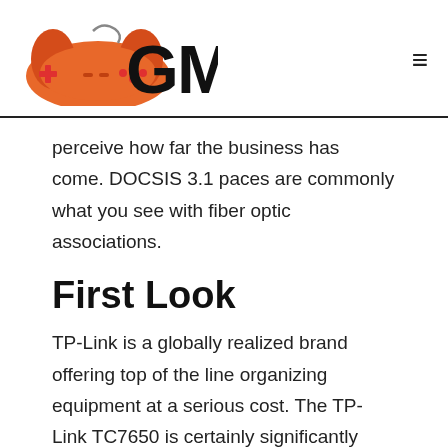GM
perceive how far the business has come. DOCSIS 3.1 paces are commonly what you see with fiber optic associations.
First Look
TP-Link is a globally realized brand offering top of the line organizing equipment at a serious cost. The TP-Link TC7650 is certainly significantly bigger that most link modems, however there is a huge load of amazing equipment inside that legitimizes the enormous size. It underpins the most recent DOCSIS 3.0 norm, and is one of only a handful few modems prepared to do